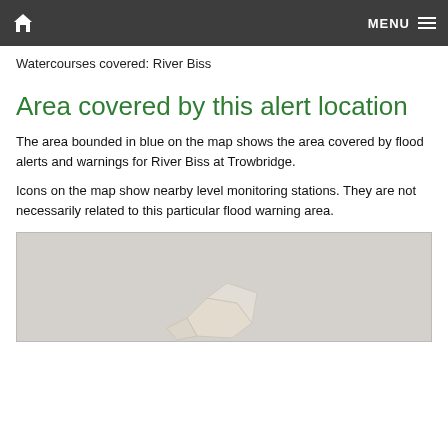Home | MENU
Watercourses covered: River Biss
Area covered by this alert location
The area bounded in blue on the map shows the area covered by flood alerts and warnings for River Biss at Trowbridge.
Icons on the map show nearby level monitoring stations. They are not necessarily related to this particular flood warning area.
[Figure (map): Interactive map showing the area covered by flood alerts and warnings for River Biss at Trowbridge, with zoom controls and a layer toggle button.]